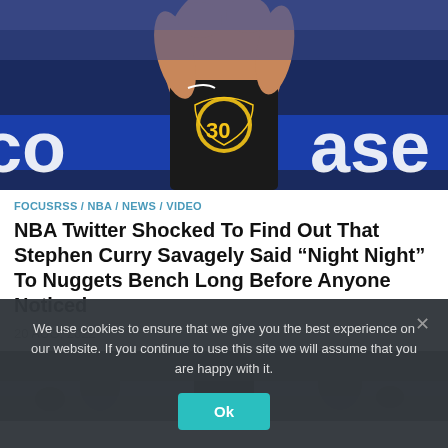[Figure (photo): Basketball player wearing Golden State Warriors jersey number 30 (Stephen Curry) shooting, with blue Coinbase advertisement banner in background]
FOCUSRSS / NBA / NEWS / VIDEO
NBA Twitter Shocked To Find Out That Stephen Curry Savagely Said “Night Night” To Nuggets Bench Long Before Anyone Noticed
20 AUG, 2022
[Figure (photo): Basketball player in dark arena setting, partially visible]
We use cookies to ensure that we give you the best experience on our website. If you continue to use this site we will assume that you are happy with it.